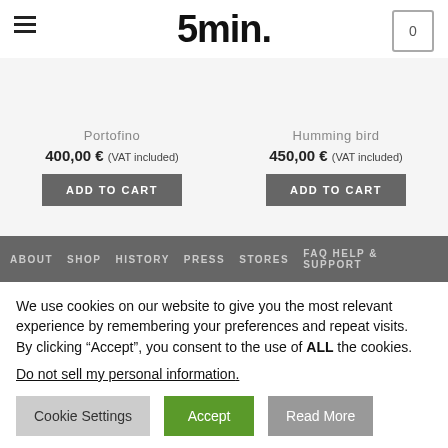5min.
Portofino
400,00 € (VAT included)
Humming bird
450,00 € (VAT included)
ADD TO CART
ADD TO CART
ABOUT  SHOP  HISTORY  PRESS  STORES  FAQ HELP & SUPPORT
We use cookies on our website to give you the most relevant experience by remembering your preferences and repeat visits.
By clicking “Accept”, you consent to the use of ALL the cookies.
Do not sell my personal information.
Cookie Settings  Accept  Read More